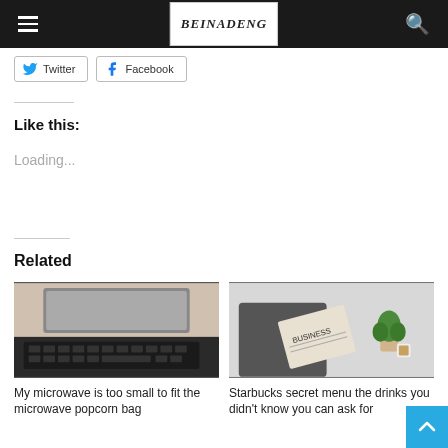BEINADENG (logo navigation bar)
Twitter  Facebook
Like this:
Loading...
Related
[Figure (photo): Photo of a laptop keyboard on a desk]
My microwave is too small to fit the microwave popcorn bag
[Figure (photo): Person in suit reading a business newspaper, with green plant and coffee cup in background]
Starbucks secret menu the drinks you didn't know you can ask for